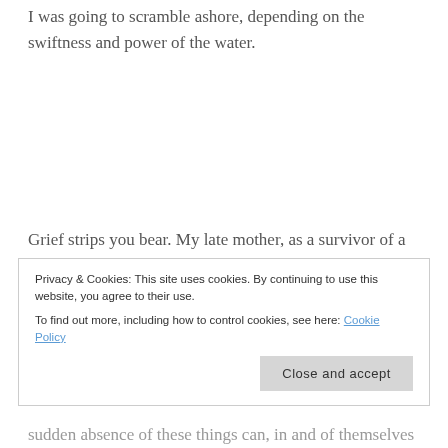I was going to scramble ashore, depending on the swiftness and power of the water.
Grief strips you bear. My late mother, as a survivor of a severe stroke, had to process grief over her altered life. She wrote a poem in which she said, “A stroke stripped off my overcoat / Although I wore it buttoned tight… left shivering in the cold hard truth / all secrecy and poses gone.”
Privacy & Cookies: This site uses cookies. By continuing to use this website, you agree to their use.
To find out more, including how to control cookies, see here: Cookie Policy
sudden absence of these things can, in and of themselves